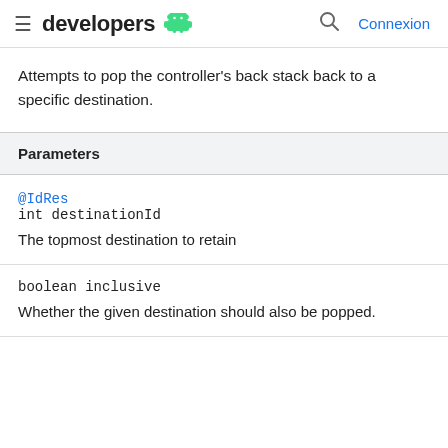developers | Connexion
Attempts to pop the controller's back stack back to a specific destination.
| Parameters |
| --- |
| @IdRes
int destinationId | The topmost destination to retain |
| boolean inclusive | Whether the given destination should also be popped. |